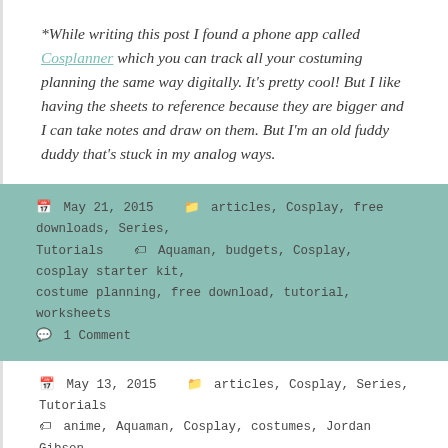*While writing this post I found a phone app called Cosplanner which you can track all your costuming planning the same way digitally. It's pretty cool! But I like having the sheets to reference because they are bigger and I can take notes and draw on them. But I'm an old fuddy duddy that's stuck in my analog ways.
May 21, 2015  articles, Cosplay, free downloads, Series, Tutorials  Aquaman, budgets, Cosplay, cosplay starter kit, costume planning, free download, tutorial, worksheets  1 Comment
May 13, 2015  articles, Cosplay, Series, Tutorials  anime, Aquaman, Cosplay, costumes, Jordan Gibson, Marvel, Nova Prime, planning, Trigun  1 Comment
Cosplay Starter Kit: Planning your costume (Part 1)